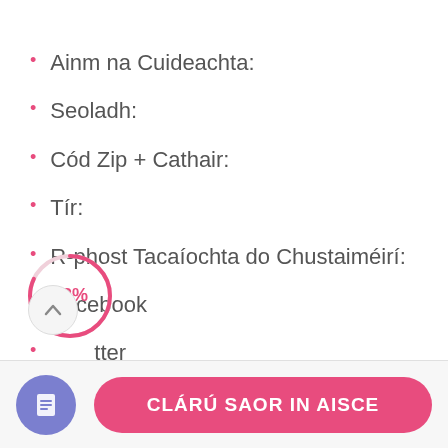Ainm na Cuideachta:
Seoladh:
Cód Zip + Cathair:
Tír:
R-phost Tacaíochta do Chustaiméirí:
Facebook
Twitter
[Figure (other): Progress indicator showing 82% completion as a circular donut gauge with pink stroke and '82%' text in center]
CLÁRÚ SAOR IN AISCE